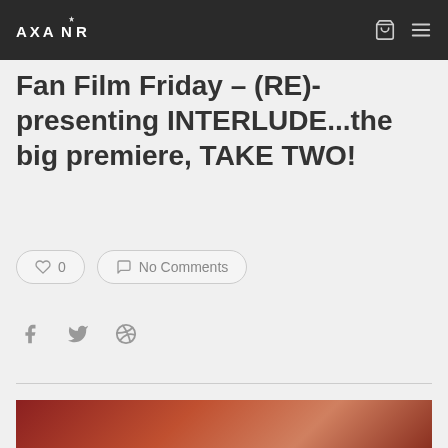AXANR
Fan Film Friday – (RE)-presenting INTERLUDE...the big premiere, TAKE TWO!
0  No Comments
[Figure (screenshot): Partial image of a person, appears to be from a video or film scene with warm/dark background lighting]